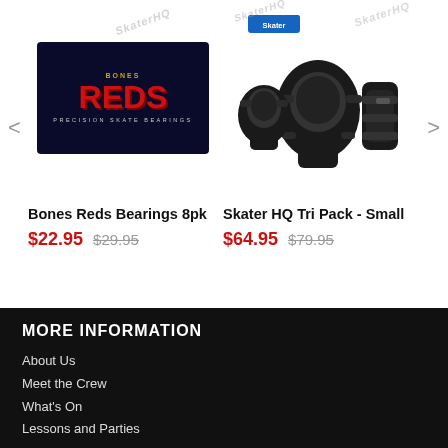[Figure (photo): Bones Reds Precision Skate Bearings 8pk product image on dark navy background]
[Figure (photo): Skater HQ Tri Pack Small knee/elbow/wrist protective pads in black]
Bones Reds Bearings 8pk
$22.95  $29.95
Skater HQ Tri Pack - Small
$64.95  $79.95
MORE INFORMATION
About Us
Meet the Crew
What's On
Lessons and Parties